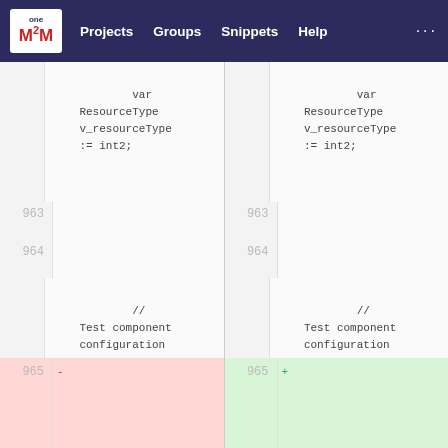oneM2M  Projects  Groups  Snippets  Help  ...
963  var ResourceType v_resourceType := int2;  |  963  var ResourceType v_resourceType := int2;
964  [blank]  |  964  [blank]
965  - [deleted line]  |  965  + [added line]
  // Test component configuration  |    // Test component configuration